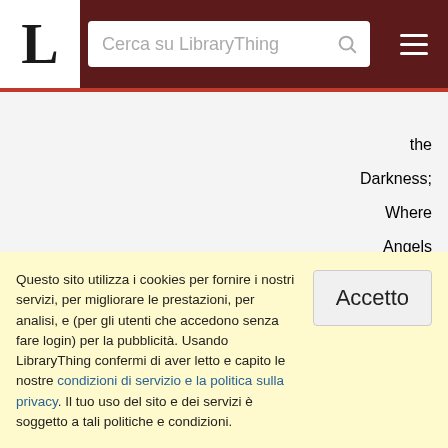LibraryThing — Cerca su LibraryThing
the Darkness; Where Angels Fear to Tread; Love Bytes; Santa
Questo sito utilizza i cookies per fornire i nostri servizi, per migliorare le prestazioni, per analisi, e (per gli utenti che accedono senza fare login) per la pubblicità. Usando LibraryThing confermi di aver letto e capito le nostre condizioni di servizio e la politica sulla privacy. Il tuo uso del sito e dei servizi è soggetto a tali politiche e condizioni.